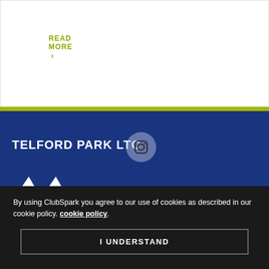READ MORE >
TELFORD PARK LTC
[Figure (logo): LTA Tennis logo — white geometric shape with TENNIS text]
By using ClubSpark you agree to our use of cookies as described in our cookie policy. cookie policy.
I UNDERSTAND